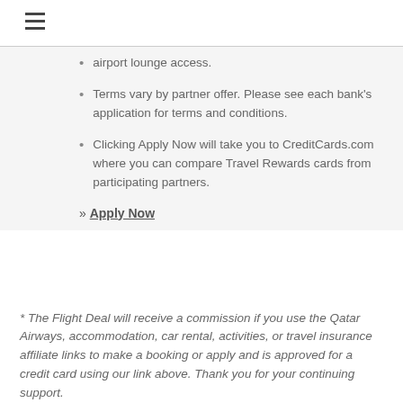≡
airport lounge access.
Terms vary by partner offer. Please see each bank's application for terms and conditions.
Clicking Apply Now will take you to CreditCards.com where you can compare Travel Rewards cards from participating partners.
» Apply Now
* The Flight Deal will receive a commission if you use the Qatar Airways, accommodation, car rental, activities, or travel insurance affiliate links to make a booking or apply and is approved for a credit card using our link above. Thank you for your continuing support.